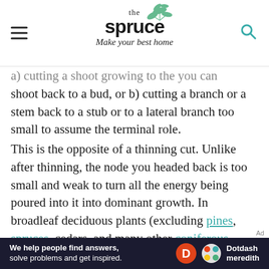the spruce — Make your best home
a) cutting a shoot back to a bud, or b) cutting a branch or a stem back to a stub or to a lateral branch too small to assume the terminal role.
This is the opposite of a thinning cut. Unlike after thinning, the node you headed back is too small and weak to turn all the energy being poured into it into dominant growth. In broadleaf deciduous plants (excluding pines, spruces, cedars, and many other coniferous plants), a heading cut triggers a number of the top buds left behind to break dormancy and
[Figure (logo): Dotdash Meredith advertisement banner at bottom of page]